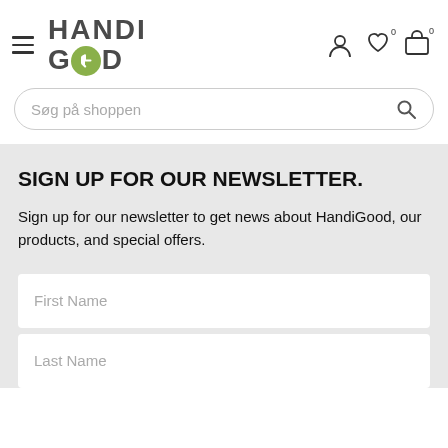[Figure (logo): HandiGood logo with hamburger menu icon on left, and user/heart/cart icons on right]
Søg på shoppen
SIGN UP FOR OUR NEWSLETTER.
Sign up for our newsletter to get news about HandiGood, our products, and special offers.
First Name
Last Name